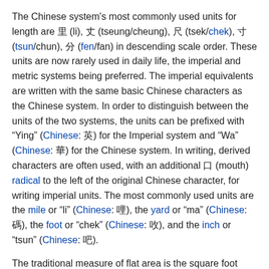The Chinese system's most commonly used units for length are 里 (li), 丈 (tseung/cheung), 尺 (tsek/chek), 寸 (tsun/chun), 分 (fen/fan) in descending scale order. These units are now rarely used in daily life, the imperial and metric systems being preferred. The imperial equivalents are written with the same basic Chinese characters as the Chinese system. In order to distinguish between the units of the two systems, the units can be prefixed with "Ying" (Chinese: 英) for the Imperial system and "Wa" (Chinese: 華) for the Chinese system. In writing, derived characters are often used, with an additional 口 (mouth) radical to the left of the original Chinese character, for writing imperial units. The most commonly used units are the mile or "li" (Chinese: 哩), the yard or "ma" (Chinese: 碼), the foot or "chek" (Chinese: 呎), and the inch or "tsun" (Chinese: 吋).
The traditional measure of flat area is the square foot (Chinese: 平方呎, 方呎) of the imperial system, which is still in common use for real estate purposes. The measurement of agricultural plots and fields, however, is traditionally conducted in 畝 (mau) of the Chinese system.
For the measurement of volume, Hong Kong officially uses the